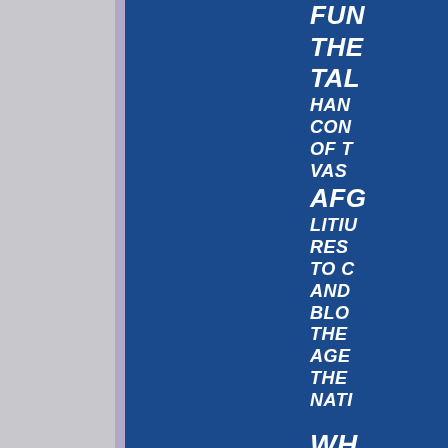FUND THE TALENT HAND CON OF T VAS AFG LITIU RES TO C AND BLO THE AGE THE NATI WH